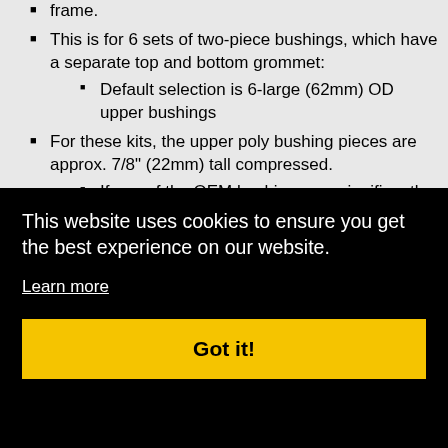frame.
This is for 6 sets of two-piece bushings, which have a separate top and bottom grommet: Default selection is 6-large (62mm) OD upper bushings
For these kits, the upper poly bushing pieces are approx. 7/8" (22mm) tall compressed. If any of the OEM bushings are significantly taller than this, let us know so we can provide spacers to make up the difference.
Please refer to the page and select... (link) ...ue ...hat the
...will ...e stock ...gs ...lded ...y ...htly ...He material stiffness (durometer) is
[Figure (screenshot): Cookie consent banner with black background, text 'This website uses cookies to ensure you get the best experience on our website.', a 'Learn more' underlined link, and a yellow 'Got it!' button.]